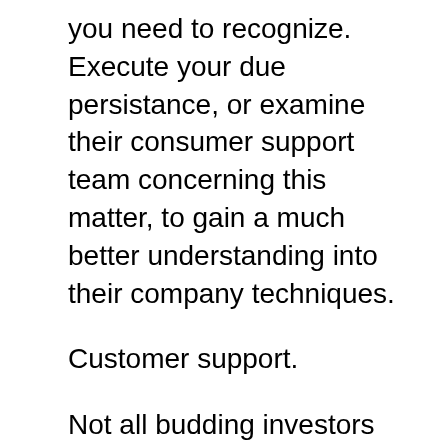you need to recognize. Execute your due persistance, or examine their consumer support team concerning this matter, to gain a much better understanding into their company techniques.
Customer support.
Not all budding investors will certainly find it very easy to establish a gold individual retirement account. There might be costs you need to pay as well, if you do not move your money from your existing retirement plan right into your new IRA account. Needing to manage unexpected costs, treatments and other concerns is not something you intend to take place. This is why it's vital that the firm you deal with has